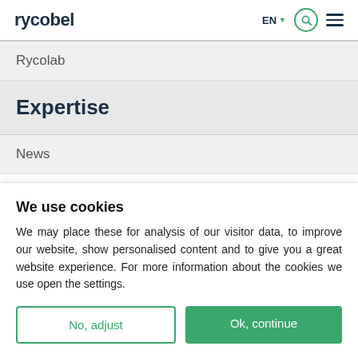rycobel EN
Rycolab
Expertise
News
We use cookies
We may place these for analysis of our visitor data, to improve our website, show personalised content and to give you a great website experience. For more information about the cookies we use open the settings.
No, adjust
Ok, continue